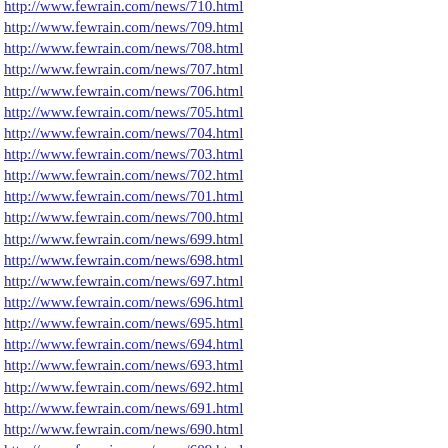http://www.fewrain.com/news/710.html
http://www.fewrain.com/news/709.html
http://www.fewrain.com/news/708.html
http://www.fewrain.com/news/707.html
http://www.fewrain.com/news/706.html
http://www.fewrain.com/news/705.html
http://www.fewrain.com/news/704.html
http://www.fewrain.com/news/703.html
http://www.fewrain.com/news/702.html
http://www.fewrain.com/news/701.html
http://www.fewrain.com/news/700.html
http://www.fewrain.com/news/699.html
http://www.fewrain.com/news/698.html
http://www.fewrain.com/news/697.html
http://www.fewrain.com/news/696.html
http://www.fewrain.com/news/695.html
http://www.fewrain.com/news/694.html
http://www.fewrain.com/news/693.html
http://www.fewrain.com/news/692.html
http://www.fewrain.com/news/691.html
http://www.fewrain.com/news/690.html
http://www.fewrain.com/news/689.html
http://www.fewrain.com/news/688.html
http://www.fewrain.com/news/687.html
http://www.fewrain.com/news/686.html
http://www.fewrain.com/news/685.html